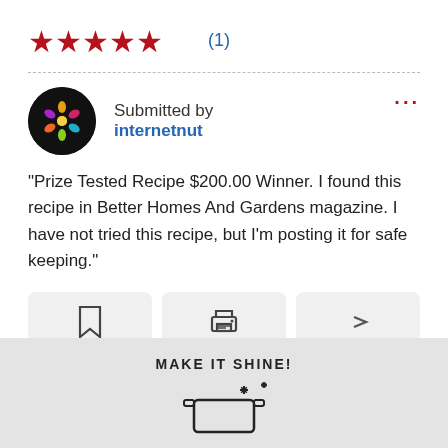[Figure (other): Five filled red stars rating with count (1) in blue]
[Figure (other): User avatar: black circle with colorful candy/flower design, submitted by label and username 'internetnut' in blue]
“Prize Tested Recipe $200.00 Winner. I found this recipe in Better Homes And Gardens magazine. I have not tried this recipe, but I’m posting it for safe keeping.”
[Figure (other): Three action buttons: bookmark icon, print icon, share/forward icon]
[Figure (other): Gray banner at bottom with text MAKE IT SHINE! and partial icon with sparkles]